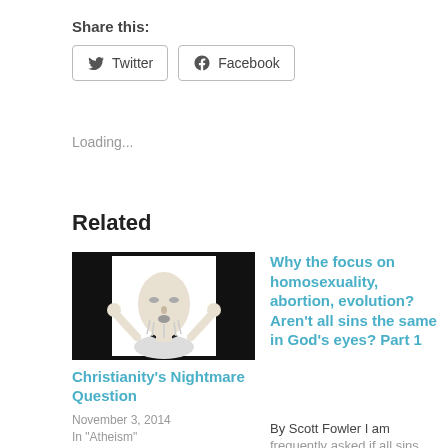Share this:
Twitter   Facebook
Loading...
Related
[Figure (illustration): Black and white caricature illustration of a man looking upward with hands clasped, black background]
Christianity's Nightmare Question
November 3, 2014
In "Atheism"
Why the focus on homosexuality, abortion, evolution? Aren't all sins the same in God's eyes? Part 1
By Scott Fowler I am frequently asked if all sins